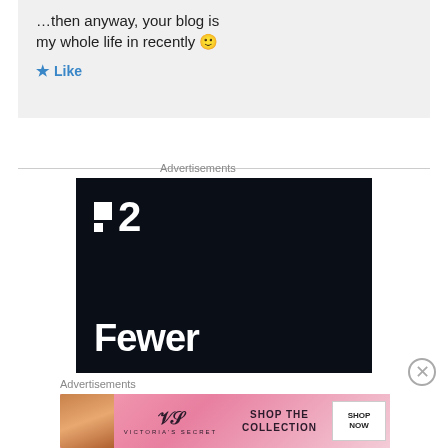…then anyway, your blog is my whole life in recently 🙂
★ Like
Advertisements
[Figure (screenshot): Dark advertisement banner showing a logo with two white squares and the number 2, with large white bold text reading 'Fewer' at the bottom, on a near-black background.]
✕
Advertisements
[Figure (screenshot): Victoria's Secret pink advertisement banner with a model photo on the left, VS logo in center, text 'SHOP THE COLLECTION', and a white 'SHOP NOW' button on the right.]